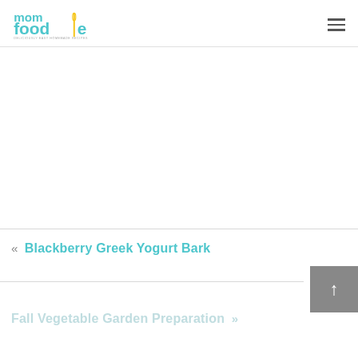[Figure (logo): Mom Foodie logo — teal and yellow text with fork/whisk icon, tagline 'Deliciously Easy Homemade Recipes']
[Figure (other): Hamburger/menu icon — three horizontal dark lines]
« Blackberry Greek Yogurt Bark
Fall Vegetable Garden Preparation »